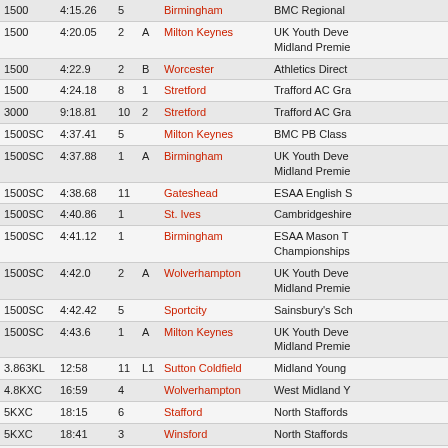| Event | Time | Pos | Sub | Venue | Meeting |
| --- | --- | --- | --- | --- | --- |
| 1500 | 4:15.26 | 5 |  | Birmingham | BMC Regional |
| 1500 | 4:20.05 | 2 | A | Milton Keynes | UK Youth Deve Midland Premie |
| 1500 | 4:22.9 | 2 | B | Worcester | Athletics Direct |
| 1500 | 4:24.18 | 8 | 1 | Stretford | Trafford AC Gra |
| 3000 | 9:18.81 | 10 | 2 | Stretford | Trafford AC Gra |
| 1500SC | 4:37.41 | 5 |  | Milton Keynes | BMC PB Class |
| 1500SC | 4:37.88 | 1 | A | Birmingham | UK Youth Deve Midland Premie |
| 1500SC | 4:38.68 | 11 |  | Gateshead | ESAA English S |
| 1500SC | 4:40.86 | 1 |  | St. Ives | Cambridgeshire |
| 1500SC | 4:41.12 | 1 |  | Birmingham | ESAA Mason T Championships |
| 1500SC | 4:42.0 | 2 | A | Wolverhampton | UK Youth Deve Midland Premie |
| 1500SC | 4:42.42 | 5 |  | Sportcity | Sainsbury's Sch |
| 1500SC | 4:43.6 | 1 | A | Milton Keynes | UK Youth Deve Midland Premie |
| 3.863KL | 12:58 | 11 | L1 | Sutton Coldfield | Midland Young |
| 4.8KXC | 16:59 | 4 |  | Wolverhampton | West Midland Y |
| 5KXC | 18:15 | 6 |  | Stafford | North Staffords |
| 5KXC | 18:41 | 3 |  | Winsford | North Staffords |
| 5KXC | 20:31 | 3 |  | Weston Coyney | North Staffords |
| 5.5KXC | 20:11 | 159 |  | Blackburn | ESAA English S |
| 6KXC | 21:47 | 129 |  | Birmingham | CAU Inter Cour British Athletics |